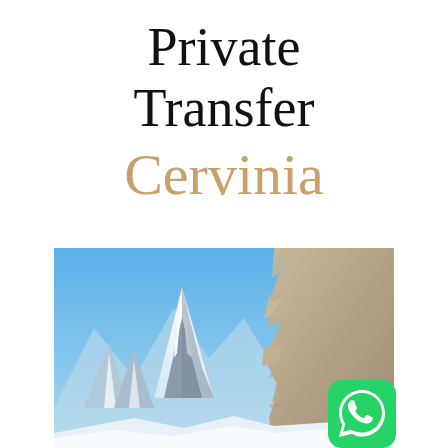Private Transfer Cervinia
[Figure (photo): Mountain landscape showing a snow-capped peak (Matterhorn) with blue sky and rocky cliff face on the right, Cervinia alpine scene. A WhatsApp icon is overlaid in the bottom-right corner.]